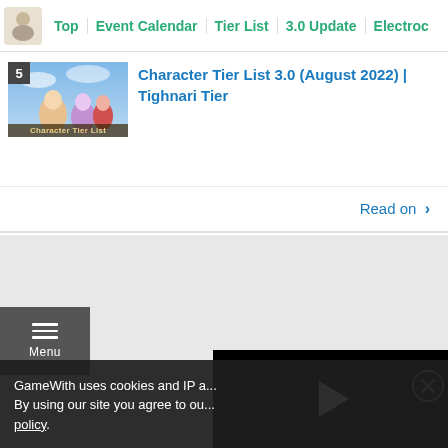Top | Event Calendar | Tier List | 3.0 Update | Electroc
5 — Character Tier List 3.0 (August 2022) | Tighnari Tier
Read on >
[Figure (screenshot): Grey advertisement placeholder area]
Menu
[Figure (screenshot): Video player with play button on black background]
GameWith uses cookies and IP a... By using our site you agree to ou... policy.